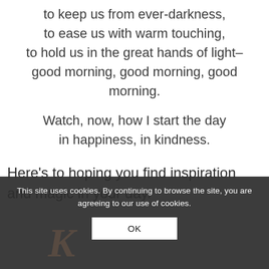to keep us from ever-darkness,
to ease us with warm touching,
to hold us in the great hands of light–
good morning, good morning, good morning.
Watch, now, how I start the day
in happiness, in kindness.
Here's to hoping you find inspiration and magic in your day.
This site uses cookies. By continuing to browse the site, you are agreeing to our use of cookies.